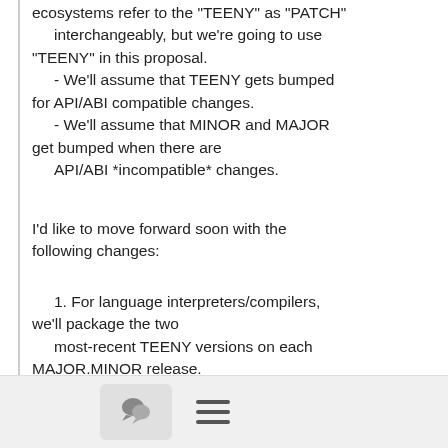ecosystems refer to the "TEENY" as "PATCH"
    interchangeably, but we're going to use "TEENY" in this proposal.
    - We'll assume that TEENY gets bumped for API/ABI compatible changes.
    - We'll assume that MINOR and MAJOR get bumped when there are
    API/ABI *incompatible* changes.
I'd like to move forward soon with the following changes:
1. For language interpreters/compilers, we'll package the two
    most-recent TEENY versions on each MAJOR.MINOR release.
2. For all other dependencies, we'll package only the single